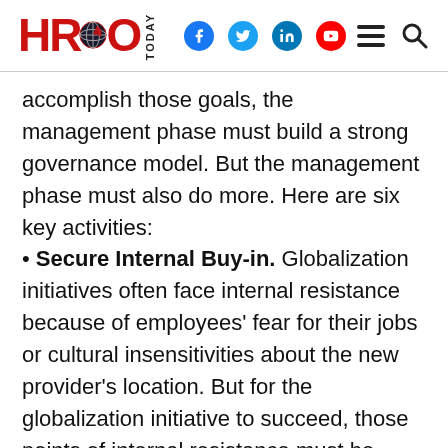HRO Today
accomplish those goals, the management phase must build a strong governance model. But the management phase must also do more. Here are six key activities:
• Secure Internal Buy-in. Globalization initiatives often face internal resistance because of employees' fear for their jobs or cultural insensitivities about the new provider's location. But for the globalization initiative to succeed, those points of internal resistance must be addressed, and internal buy-in must be